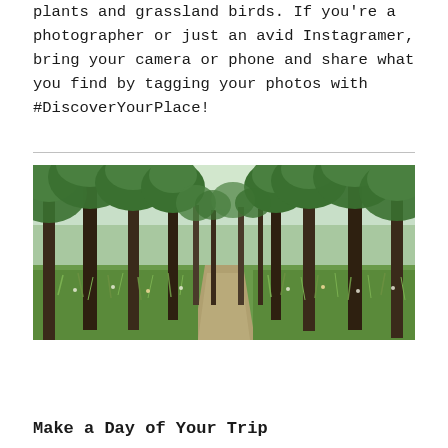plants and grassland birds. If you're a photographer or just an avid Instagramer, bring your camera or phone and share what you find by tagging your photos with #DiscoverYourPlace!
[Figure (photo): A forest path lined with tall oak trees with dense green foliage, with a dirt trail running through the middle and wildflowers and grass on the sides.]
Make a Day of Your Trip